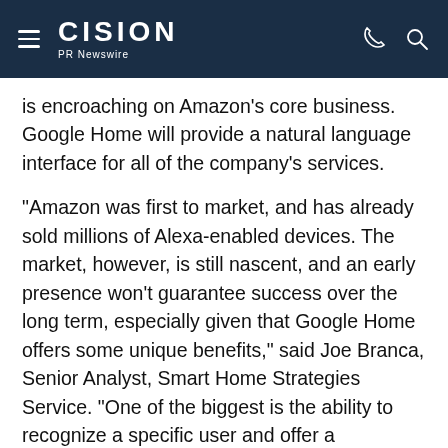CISION PR Newswire
is encroaching on Amazon's core business. Google Home will provide a natural language interface for all of the company's services.
"Amazon was first to market, and has already sold millions of Alexa-enabled devices. The market, however, is still nascent, and an early presence won't guarantee success over the long term, especially given that Google Home offers some unique benefits," said Joe Branca, Senior Analyst, Smart Home Strategies Service. "One of the biggest is the ability to recognize a specific user and offer a personalized response – something that's going to be useful in of smart home applications." Google Home will also